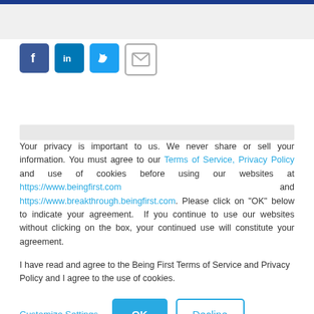[Figure (infographic): Social media share icons: Facebook (blue), LinkedIn (blue), Twitter (light blue), Email (gray outline)]
Your privacy is important to us. We never share or sell your information. You must agree to our Terms of Service, Privacy Policy and use of cookies before using our websites at https://www.beingfirst.com and https://www.breakthrough.beingfirst.com. Please click on "OK" below to indicate your agreement. If you continue to use our websites without clicking on the box, your continued use will constitute your agreement.
I have read and agree to the Being First Terms of Service and Privacy Policy and I agree to the use of cookies.
Customize Settings | OK | Decline